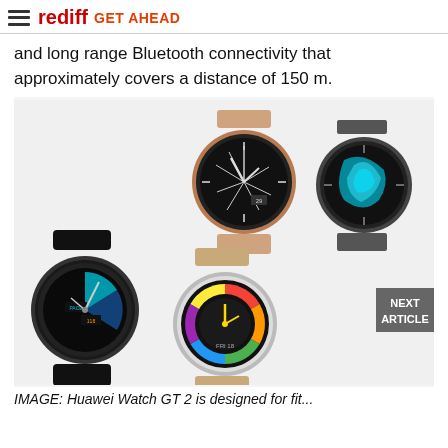rediff GET AHEAD
and long range Bluetooth connectivity that approximately covers a distance of 150 m.
[Figure (photo): Four Huawei Watch GT 2 smartwatches displayed: top-center rose gold mesh band with black dial, top-right dark steel band with teal artistic dial, bottom-left black rubber band with sport dial, bottom-center tan leather band with colorful dial. NEXT ARTICLE button overlay in bottom right.]
IMAGE: Huawei Watch GT 2 is designed for fit...